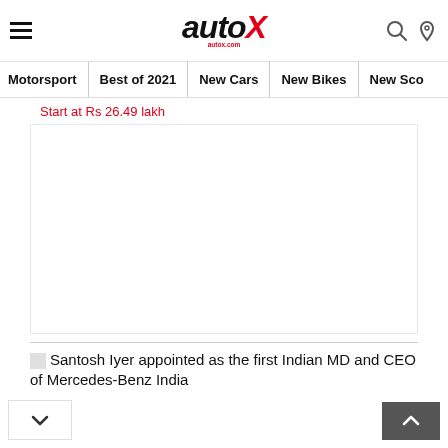autoX - Motorsport | Best of 2021 | New Cars | New Bikes | New Sco...
Start at Rs 26.49 lakh
[Figure (photo): Large image area (blank/white) in article card]
Santosh Iyer appointed as the first Indian MD and CEO of Mercedes-Benz India